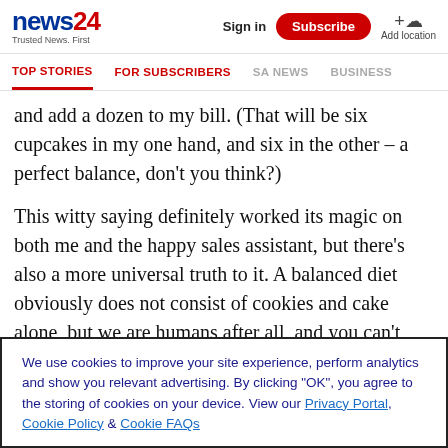news24 Trusted News. First | Sign in | Subscribe | Add location
TOP STORIES | FOR SUBSCRIBERS | SA NEWS | BUSINESS | SP...
and add a dozen to my bill. (That will be six cupcakes in my one hand, and six in the other – a perfect balance, don't you think?)
This witty saying definitely worked its magic on both me and the happy sales assistant, but there's also a more universal truth to it. A balanced diet obviously does not consist of cookies and cake alone, but we are humans after all, and you can't restrict yourself only to healthy foods without a reward or a treat every now and then. If you keep
We use cookies to improve your site experience, perform analytics and show you relevant advertising. By clicking "OK", you agree to the storing of cookies on your device. View our Privacy Portal, Cookie Policy & Cookie FAQs